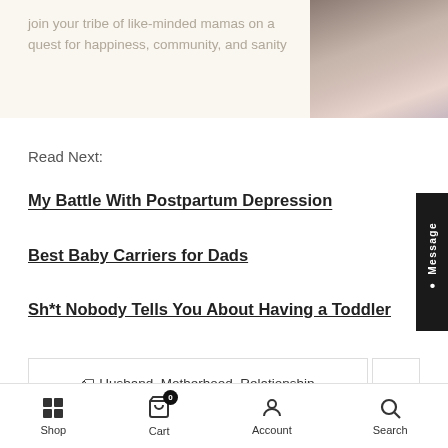join your tribe of like-minded mamas on a quest for happiness, community, and sanity
[Figure (photo): Photo of women/mothers, partially visible]
Read Next:
My Battle With Postpartum Depression
Best Baby Carriers for Dads
Sh*t Nobody Tells You About Having a Toddler
🏷 Husband, Motherhood, Relationship
4 comments
Shop  Cart  Account  Search